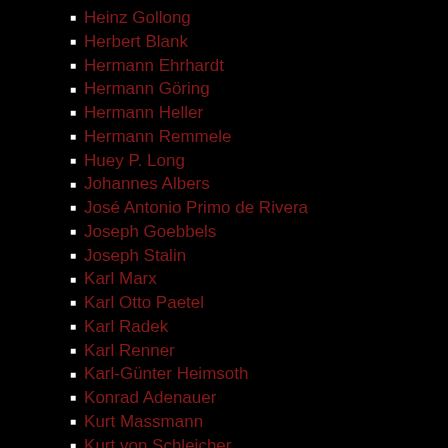Heinz Gollong
Herbert Blank
Hermann Ehrhardt
Hermann Göring
Hermann Heller
Hermann Remmele
Huey P. Long
Johannes Albers
José Antonio Primo de Rivera
Joseph Goebbels
Joseph Stalin
Karl Marx
Karl Otto Paetel
Karl Radek
Karl Renner
Karl-Günter Heimsoth
Konrad Adenauer
Kurt Massmann
Kurt von Schleicher
Landvolk
Monthly Fragebogen
National Bolshevism
National Bolshevist